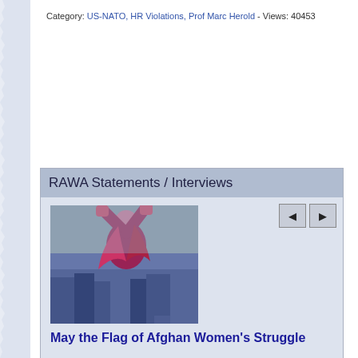Category: US-NATO, HR Violations, Prof Marc Herold - Views: 40453
RAWA Statements / Interviews
[Figure (photo): Photo of a woman in red raising her fist in a crowd, representing Afghan women's struggle]
May the Flag of Afghan Women's Struggle
Source: RAWA.org
Date: August 14, 2022
RAWA: A year has passed since the reinstalment of the fanatic Taliban back to power. It was easily predictable that women and girls would be the